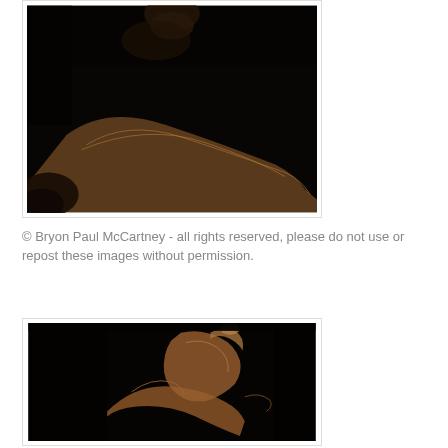[Figure (photo): Dark artistic photograph on black background showing a dancer or figure, with warm brown/amber tones illuminating parts of the body against a black background. The figure appears to be bent or crouched, partially visible from above.]
© Bryon Paul McCartney - all rights reserved, please do not use or repost these images without permission.
[Figure (photo): Dark artistic photograph on black background showing two dancers, one lifting or supporting the other. Warm amber/sepia tones illuminate the intertwined figures against a black background. The pose shows a dramatic acrobatic or contemporary dance lift.]